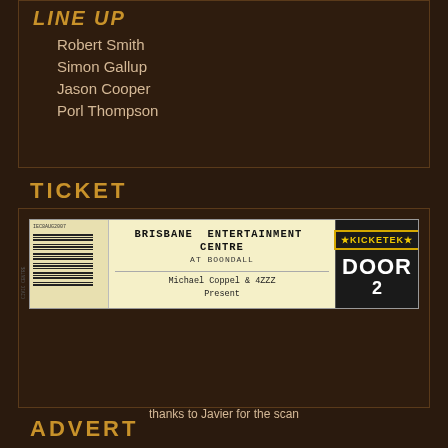LINE UP
Robert Smith
Simon Gallup
Jason Cooper
Porl Thompson
TICKET
[Figure (photo): Concert ticket for Brisbane Entertainment Centre at Boondall, presented by Michael Coppel & 4ZZZ, with Kicketek logo and DOOR label]
thanks to Javier for the scan
ADVERT